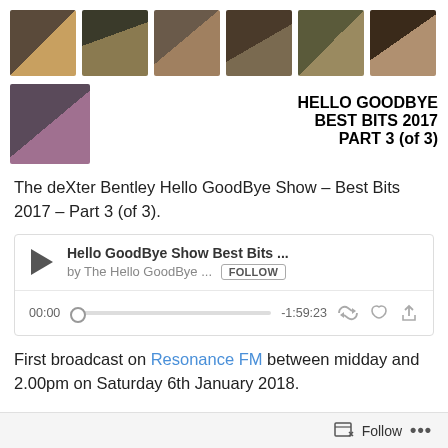[Figure (photo): Strip of 6 thumbnail photos of musicians at top of page]
[Figure (photo): Single thumbnail photo of musician, bottom-left of second row]
HELLO GOODBYE BEST BITS 2017 PART 3 (of 3)
The deXter Bentley Hello GoodBye Show – Best Bits 2017 – Part 3 (of 3).
[Figure (screenshot): Embedded audio player widget showing: Hello GoodBye Show Best Bits ... by The Hello GoodBye ... [FOLLOW] | 00:00 progress bar -1:59:23 with repost, like and share icons]
First broadcast on Resonance FM between midday and 2.00pm on Saturday 6th January 2018.
Follow ...